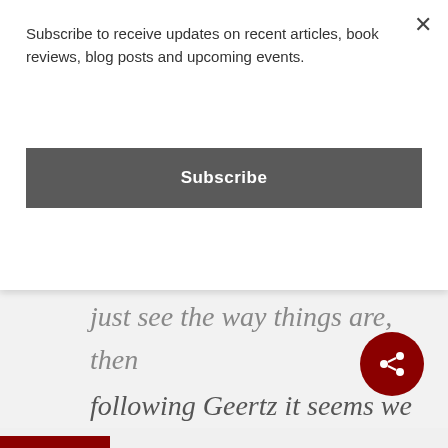Subscribe to receive updates on recent articles, book reviews, blog posts and upcoming events.
Subscribe
just see the way things are, then following Geertz it seems we need to own up to the concern that it might just be turtles all the way down. While Moral, Believing Animals left his account hanging there, WiaP? admittedly steps back from there into the safety of critical realism. And stepping back from a precipice, he
[Figure (other): Share button icon — circular dark red button with share/network icon in white]